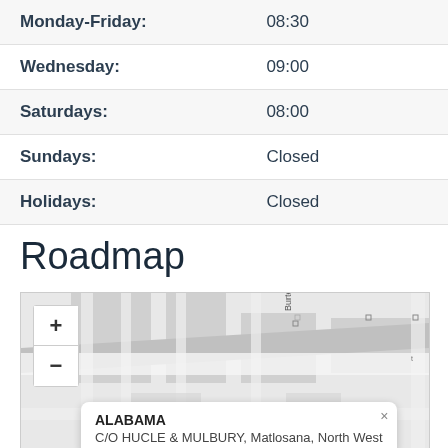| Day | Time |
| --- | --- |
| Monday-Friday: | 08:30 |
| Wednesday: | 09:00 |
| Saturdays: | 08:00 |
| Sundays: | Closed |
| Holidays: | Closed |
Roadmap
[Figure (map): Street map showing location of ALABAMA, C/O HUCLE & MULBURY, Matlosana, North West, with zoom controls and a popup label]
ALABAMA
C/O HUCLE & MULBURY, Matlosana, North West